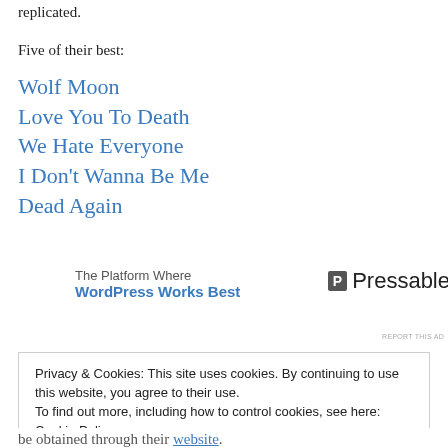replicated.
Five of their best:
Wolf Moon
Love You To Death
We Hate Everyone
I Don't Wanna Be Me
Dead Again
[Figure (other): Advertisement banner: 'The Platform Where WordPress Works Best' with Pressable logo]
REPORT THIS AD
Privacy & Cookies: This site uses cookies. By continuing to use this website, you agree to their use.
To find out more, including how to control cookies, see here: Cookie Policy
Close and accept
be obtained through their website.